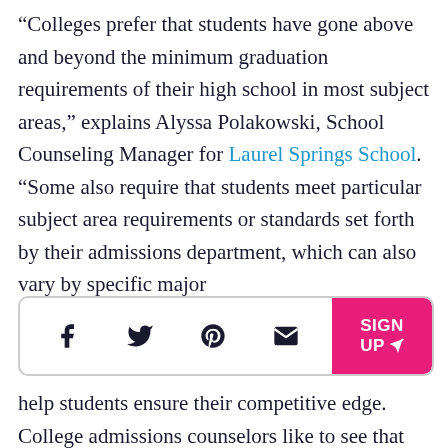“Colleges prefer that students have gone above and beyond the minimum graduation requirements of their high school in most subject areas,” explains Alyssa Polakowski, School Counseling Manager for Laurel Springs School. “Some also require that students meet particular subject area requirements or standards set forth by their admissions department, which can also vary by specific major
[Figure (other): Social sharing bar with Facebook, Twitter, Pinterest, Email icons and a pink SIGN UP button]
help students ensure their competitive edge.
College admissions counselors like to see that students have challenged themselves and gone beyond